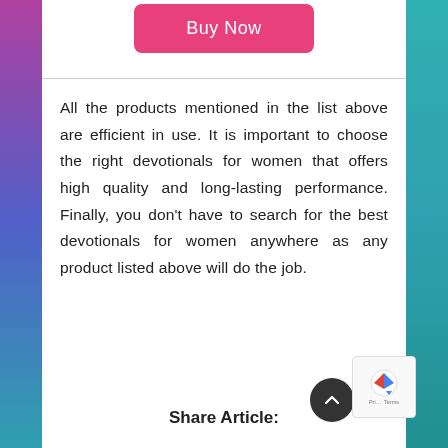[Figure (other): A pink/magenta 'Buy Now' button centered at the top of the page]
All the products mentioned in the list above are efficient in use. It is important to choose the right devotionals for women that offers high quality and long-lasting performance. Finally, you don't have to search for the best devotionals for women anywhere as any product listed above will do the job.
Share Article: